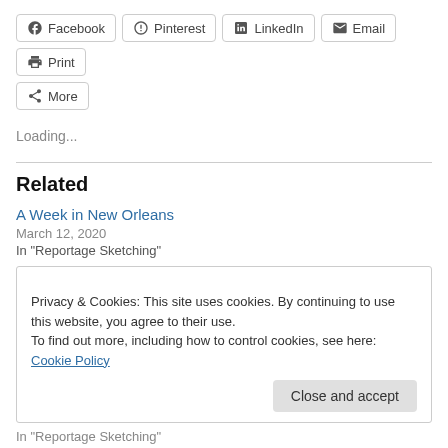[Figure (screenshot): Social share buttons row: Facebook, Pinterest, LinkedIn, Email, Print, More]
Loading...
Related
A Week in New Orleans
March 12, 2020
In "Reportage Sketching"
Privacy & Cookies: This site uses cookies. By continuing to use this website, you agree to their use.
To find out more, including how to control cookies, see here: Cookie Policy
Close and accept
In "Reportage Sketching"